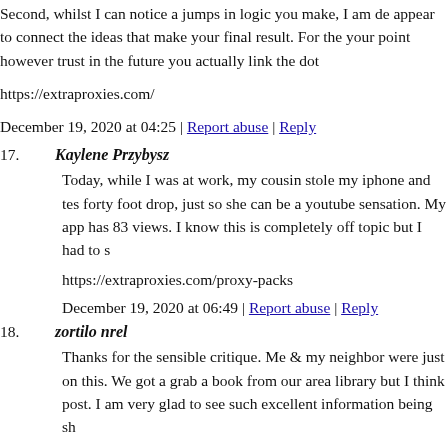Second, whilst I can notice a jumps in logic you make, I am de appear to connect the ideas that make your final result. For the your point however trust in the future you actually link the dot
https://extraproxies.com/
December 19, 2020 at 04:25 | Report abuse | Reply
17. Kaylene Przybysz
Today, while I was at work, my cousin stole my iphone and tes forty foot drop, just so she can be a youtube sensation. My app has 83 views. I know this is completely off topic but I had to s
https://extraproxies.com/proxy-packs
December 19, 2020 at 06:49 | Report abuse | Reply
18. zortilo nrel
Thanks for the sensible critique. Me & my neighbor were just on this. We got a grab a book from our area library but I think post. I am very glad to see such excellent information being sh
http://www.zortilonrel.com/
December 19, 2020 at 12:55 | Report abuse | Reply
19. Maricruz Ricardi